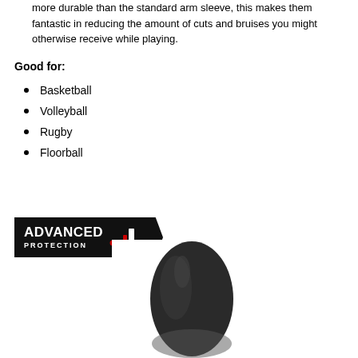more durable than the standard arm sleeve, this makes them fantastic in reducing the amount of cuts and bruises you might otherwise receive while playing.
Good for:
Basketball
Volleyball
Rugby
Floorball
[Figure (logo): Advanced Protection badge/logo with bar chart icon on black hexagonal badge]
[Figure (photo): Black arm/elbow sleeve product photo on white background]